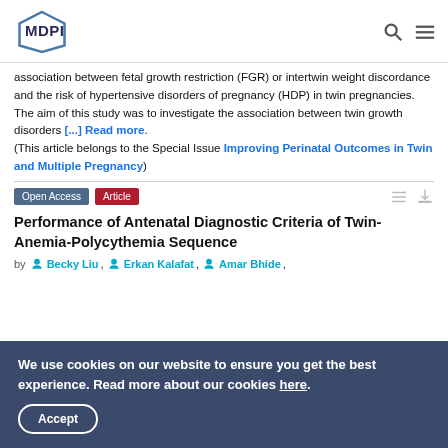MDPI
association between fetal growth restriction (FGR) or intertwin weight discordance and the risk of hypertensive disorders of pregnancy (HDP) in twin pregnancies. The aim of this study was to investigate the association between twin growth disorders [...] Read more. (This article belongs to the Special Issue Improving Perinatal Outcomes in Twin and Multiple Pregnancy)
Performance of Antenatal Diagnostic Criteria of Twin-Anemia-Polycythemia Sequence
by Becky Liu, Erkan Kalafat, Amar Bhide,
We use cookies on our website to ensure you get the best experience. Read more about our cookies here. Accept